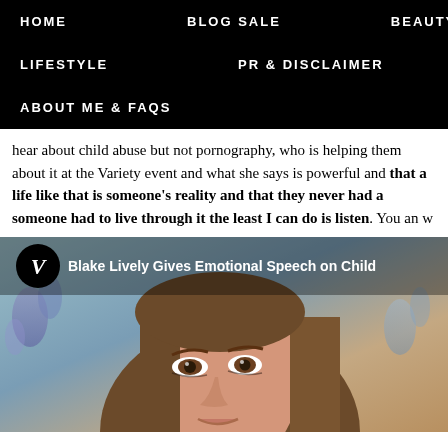HOME   BLOG SALE   BEAUTY   LIFESTYLE   PR & DISCLAIMER   ABOUT ME & FAQs
hear about child abuse but not pornography, who is helping them about it at the Variety event and what she says is powerful and that a life like that is someone's reality and that they never had a someone had to live through it the least I can do is listen. You an w
[Figure (screenshot): Video thumbnail showing Blake Lively with Variety logo and title 'Blake Lively Gives Emotional Speech on Child']